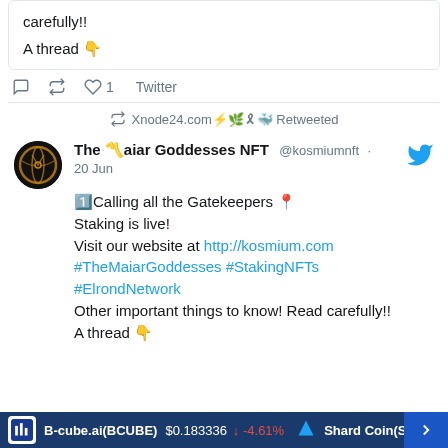carefully!! A thread 👇
💬 🔁 ❤ 1  Twitter
🔁 Xnode24.com⚡🌿🎗🐳 Retweeted
The 〽️aiar Goddesses NFT @kosmiumnft · 20 Jun
1️⃣Calling all the Gatekeepers 📍
Staking is live!
Visit our website at http://kosmium.com
#TheMaiarGoddesses #StakingNFTs
#ElrondNetwork
Other important things to know! Read carefully!!
A thread 👇
B-cube.ai(BCUBE) $0.183336 ↓ -4.61%   Shard Coin(SHA...